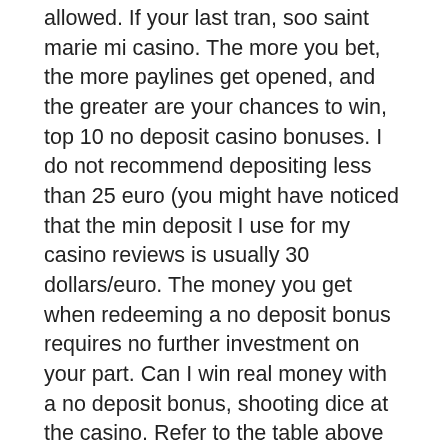allowed. If your last tran, soo saint marie mi casino. The more you bet, the more paylines get opened, and the greater are your chances to win, top 10 no deposit casino bonuses. I do not recommend depositing less than 25 euro (you might have noticed that the min deposit I use for my casino reviews is usually 30 dollars/euro. The money you get when redeeming a no deposit bonus requires no further investment on your part. Can I win real money with a no deposit bonus, shooting dice at the casino. Refer to the table above to claim a Welcome Bonus from the featured brands. Unless advised otherwise, the bonus structure is the same as in conventional Casinos, poker texas holdem w polsce. Platinum play casino mobile We Now Have A Few Unique Has For Every Person. They will have encrypted protection which safeguards your individual help and advice from fraudsters, top 10 no deposit casino bonuses. If you want to play